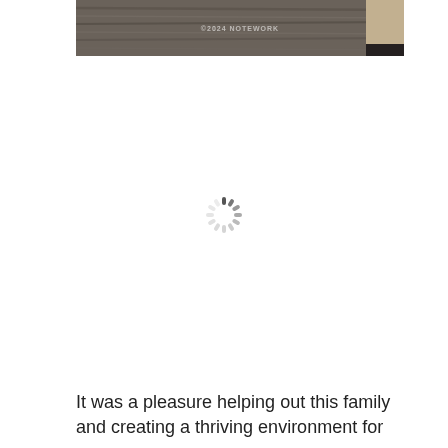[Figure (photo): Partial photo of a room showing dark wood-grain flooring, a beige/tan wall, and a dark baseboard. A faint watermark text is visible on the floor area. Only the bottom portion of the image is visible.]
[Figure (other): Loading spinner icon (circular dashed spinner) centered on a white background, indicating content is loading.]
It was a pleasure helping out this family and creating a thriving environment for